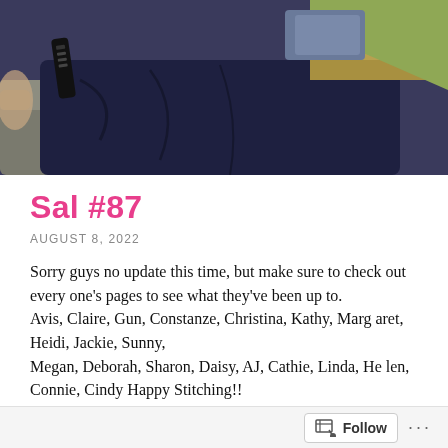[Figure (photo): A person sitting on a sofa, wearing a dark navy blue outfit/blanket, holding or near a TV remote. Partial view of a cat or animal print in upper right corner.]
Sal #87
AUGUST 8, 2022
Sorry guys no update this time, but make sure to check out every one's pages to see what they've been up to.
Avis, Claire, Gun, Constanze, Christina, Kathy, Margaret, Heidi, Jackie, Sunny,
Megan, Deborah, Sharon, Daisy, AJ, Cathie, Linda, Helen, Connie, Cindy Happy Stitching!!
Follow ...